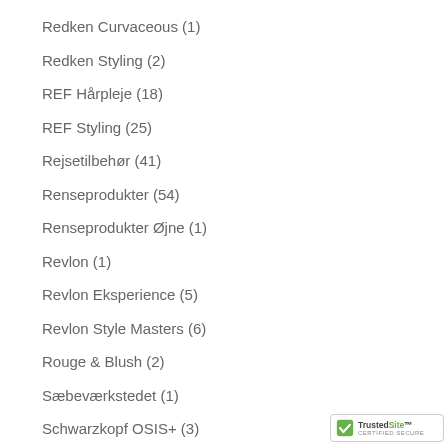Redken Curvaceous (1)
Redken Styling (2)
REF Hårpleje (18)
REF Styling (25)
Rejsetilbehør (41)
Renseprodukter (54)
Renseprodukter Øjne (1)
Revlon (1)
Revlon Eksperience (5)
Revlon Style Masters (6)
Rouge & Blush (2)
Sæbeværkstedet (1)
Schwarzkopf OSIS+ (3)
SEBASTIAN Professional (2)
[Figure (logo): TrustedSite Certified Secure badge with green checkmark]